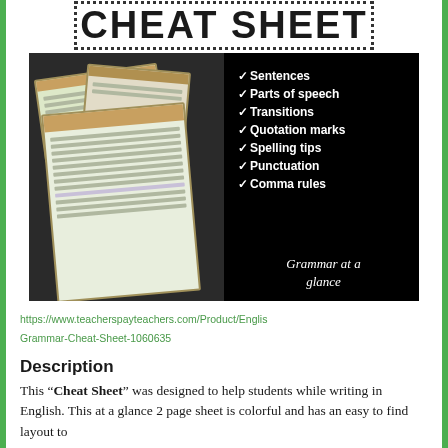CHEAT SHEET
[Figure (photo): Product preview image showing stacked colorful grammar cheat sheets on a black background, with a checklist: Sentences, Parts of speech, Transitions, Quotation marks, Spelling tips, Punctuation, Comma rules, and tagline 'Grammar at a glance']
https://www.teacherspayteachers.com/Product/English-Grammar-Cheat-Sheet-1060635
Description
This “Cheat Sheet” was designed to help students while writing in English. This at a glance 2 page sheet is colorful and has an easy to find layout to